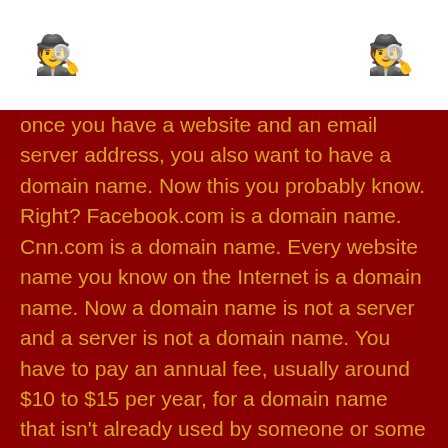[avatar icons on left and right]
once you have a website and an email server address, you also want to have a domain name. Now this you probably know. Right? Facebook.com is a domain name. Cnn.com is a domain name. Every website name you know on the Internet is a domain name. Now a domain name is not a server and a server is not a domain name. You have to pay an annual fee, usually around $10 to $15 per year, for a domain name that isn't already used by someone or some company. There are various companies that can help you register and get a domain name. Squarespace does it as part of its service for hosting your website. But there are companies that do nothing but register and sell you the domain names. The company I use because it has a decent reputation (i.e. not trying to up-sell you all the time or making it hard to transfer your domain to another site) is Hover. You go to a service like Hover, and you